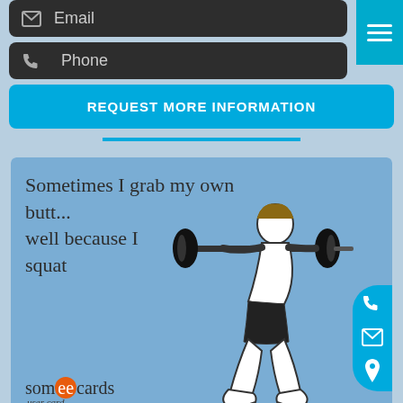[Figure (screenshot): Mobile website UI showing email input bar with envelope icon, phone input bar with phone icon, a 'REQUEST MORE INFORMATION' blue button, and a hamburger menu button in top right corner]
[Figure (illustration): Someecards user card meme with light blue background showing a weightlifter doing a squat with a barbell, text reads 'Sometimes I grab my own butt... well because I squat', branded with someecards user card logo at bottom left. Floating action buttons on the right side for phone, email, and location.]